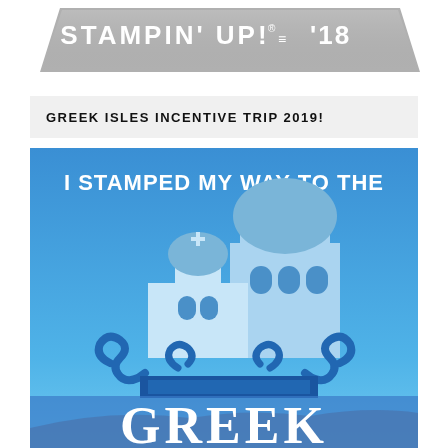[Figure (logo): Stampin' Up! '18 logo on a gray banner background with silver/white text]
GREEK ISLES INCENTIVE TRIP 2019!
[Figure (illustration): Blue background illustration with white bold text 'I STAMPED MY WAY TO THE' and a stylized Greek island architecture graphic with church domes and scrolls in light blue, with the word 'GREEK' partially visible at the bottom in large white serif letters over a photographic landscape]